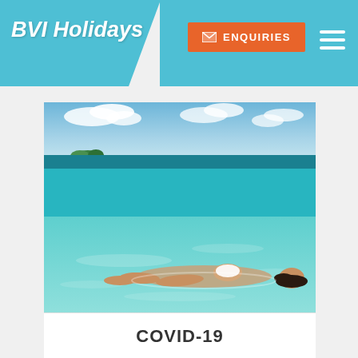BVI Holidays
[Figure (logo): BVI Holidays logo in white script text on teal blue background]
[Figure (other): Orange ENQUIRIES button with envelope icon]
[Figure (other): White hamburger menu icon (three horizontal lines)]
[Figure (photo): Woman in white bikini floating on her back in clear shallow turquoise Caribbean sea water with a small island visible on the horizon under a blue sky with clouds]
COVID-19